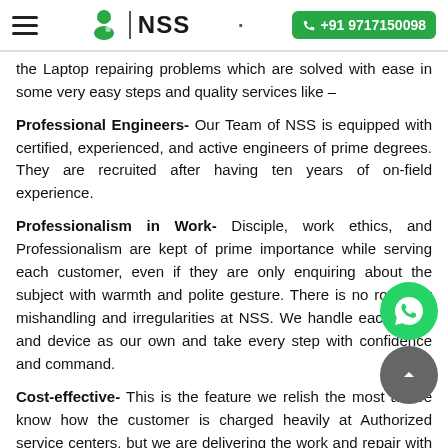NSS | +91 9717150098
the Laptop repairing problems which are solved with ease in some very easy steps and quality services like –
Professional Engineers- Our Team of NSS is equipped with certified, experienced, and active engineers of prime degrees. They are recruited after having ten years of on-field experience.
Professionalism in Work- Disciple, work ethics, and Professionalism are kept of prime importance while serving each customer, even if they are only enquiring about the subject with warmth and polite gesture. There is no room for mishandling and irregularities at NSS. We handle each client and device as our own and take every step with confidence and command.
Cost-effective- This is the feature we relish the most as we know how the customer is charged heavily at Authorized service centers, but we are delivering the work and repair with the least possible charges, and that's true as known by many Happy served customers having